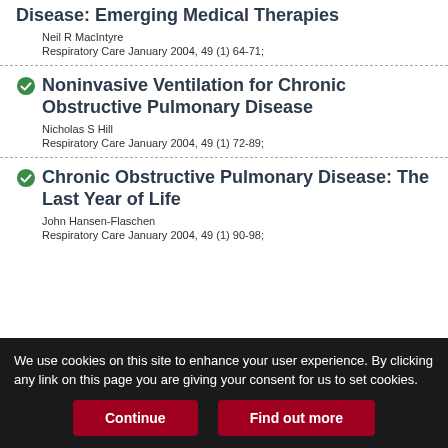Disease: Emerging Medical Therapies
Neil R MacIntyre
Respiratory Care January 2004, 49 (1) 64-71;
Noninvasive Ventilation for Chronic Obstructive Pulmonary Disease
Nicholas S Hill
Respiratory Care January 2004, 49 (1) 72-89;
Chronic Obstructive Pulmonary Disease: The Last Year of Life
John Hansen-Flaschen
Respiratory Care January 2004, 49 (1) 90-98;
We use cookies on this site to enhance your user experience. By clicking any link on this page you are giving your consent for us to set cookies.